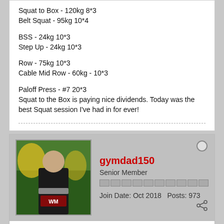Squat to Box - 120kg 8*3
Belt Squat - 95kg 10*4
BSS - 24kg 10*3
Step Up - 24kg 10*3
Row - 75kg 10*3
Cable Mid Row - 60kg - 10*3
Paloff Press - #7 20*3
Squat to the Box is paying nice dividends. Today was the best Squat session I've had in for ever!
gymdad150
Senior Member
Join Date: Oct 2018   Posts: 973
06-20-2019, 02:13 PM
#235
6/19/19
Nationals or Bust c4 w2 reps/sets
T&G Bench - 82.5kg *8, 72.5kg 8*3
Wide Grip Bench - 67.5kg 10*4